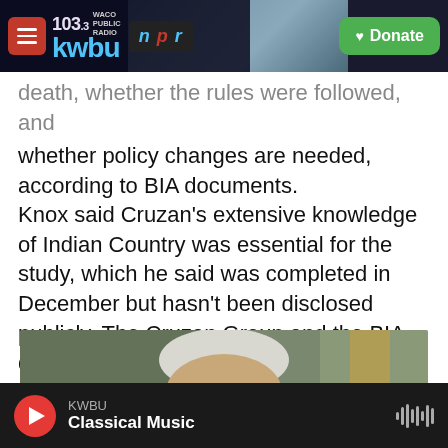103.3 KWBU WACO PUBLIC RADIO | npr | Donate
death, whether the rules were followed, and whether policy changes are needed, according to BIA documents.
Knox said Cruzan's extensive knowledge of Indian Country was essential for the study, which he said was completed in December but hasn't been disclosed publicly. The Cruzan Group and the BIA declined to release a copy to NPR and the Mountain West News Bureau.
[Figure (photo): Photo of an elderly man with white/grey hair and glasses, partially visible from the shoulders up, with a blurred background]
KWBU Classical Music